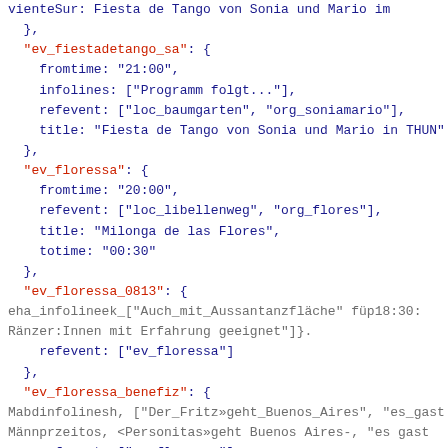Code/JSON snippet showing event definitions: ev_fiestadetango_sa, ev_floressa, ev_floressa_0813, ev_floressa_benefiz, ev_floressa_som